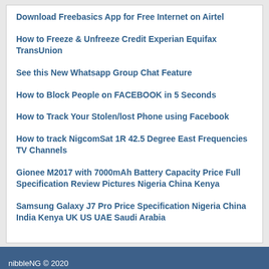Download Freebasics App for Free Internet on Airtel
How to Freeze & Unfreeze Credit Experian Equifax TransUnion
See this New Whatsapp Group Chat Feature
How to Block People on FACEBOOK in 5 Seconds
How to Track Your Stolen/lost Phone using Facebook
How to track NigcomSat 1R 42.5 Degree East Frequencies TV Channels
Gionee M2017 with 7000mAh Battery Capacity Price Full Specification Review Pictures Nigeria China Kenya
Samsung Galaxy J7 Pro Price Specification Nigeria China India Kenya UK US UAE Saudi Arabia
nibbleNG © 2020